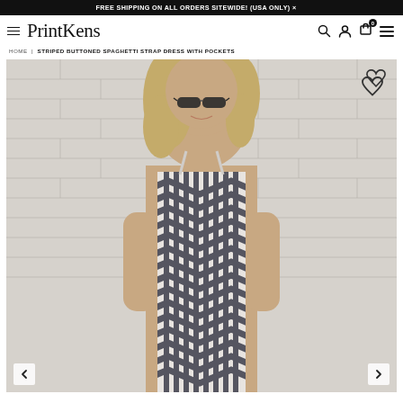FREE SHIPPING ON ALL ORDERS SITEWIDE! (USA ONLY) ✕
[Figure (logo): PrintKens script logo with hamburger menu icon on left]
HOME | STRIPED BUTTONED SPAGHETTI STRAP DRESS WITH POCKETS
[Figure (photo): Woman wearing striped spaghetti strap dress, standing in front of white brick wall, wearing sunglasses, smiling, blonde hair. Wishlist heart icon top right. Left and right navigation arrows at bottom.]